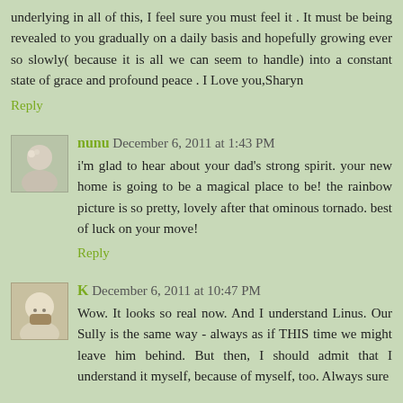underlying in all of this, I feel sure you must feel it . It must be being revealed to you gradually on a daily basis and hopefully growing ever so slowly( because it is all we can seem to handle) into a constant state of grace and profound peace . I Love you,Sharyn
Reply
nunu December 6, 2011 at 1:43 PM
i'm glad to hear about your dad's strong spirit. your new home is going to be a magical place to be! the rainbow picture is so pretty, lovely after that ominous tornado. best of luck on your move!
Reply
K December 6, 2011 at 10:47 PM
Wow. It looks so real now. And I understand Linus. Our Sully is the same way - always as if THIS time we might leave him behind. But then, I should admit that I understand it myself, because of myself, too. Always sure